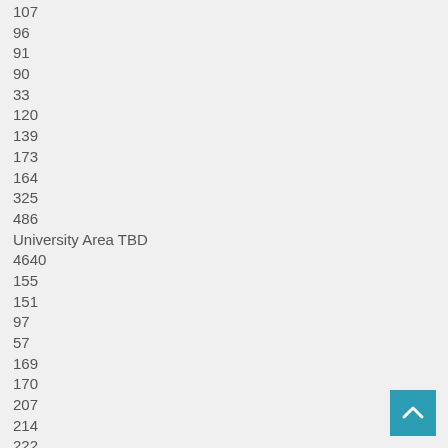107
96
91
90
33
120
139
173
164
325
486
University Area TBD
4640
155
151
97
57
169
170
207
214
222
159
80
272